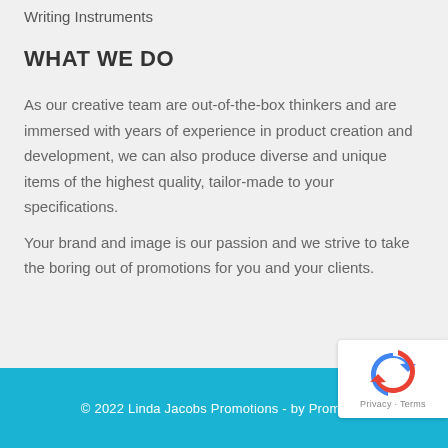Writing Instruments
WHAT WE DO
As our creative team are out-of-the-box thinkers and are immersed with years of experience in product creation and development, we can also produce diverse and unique items of the highest quality, tailor-made to your specifications.
Your brand and image is our passion and we strive to take the boring out of promotions for you and your clients.
© 2022 Linda Jacobs Promotions - by PromoDC